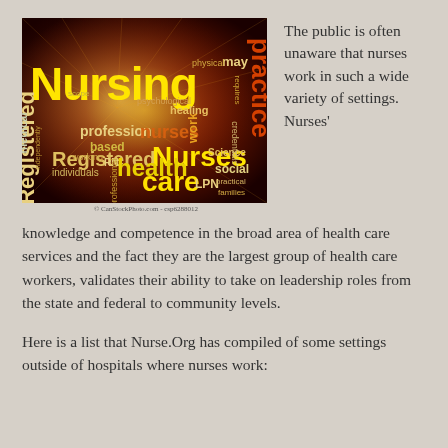[Figure (illustration): Word cloud image with nursing-related terms: Nursing, Registered, health, care, Nurses, medical, profession, LPN, RN, practice, healing, social, science, credentials, etc. on a glowing dark background with radiating light effect.]
© CanStockPhoto.com - csp6288012
The public is often unaware that nurses work in such a wide variety of settings. Nurses' knowledge and competence in the broad area of health care services and the fact they are the largest group of health care workers, validates their ability to take on leadership roles from the state and federal to community levels.
Here is a list that Nurse.Org has compiled of some settings outside of hospitals where nurses work: